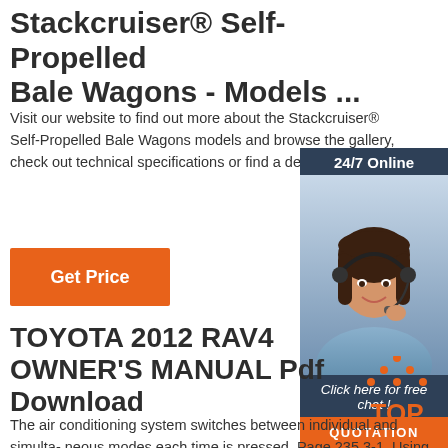Stackcruiser® Self-Propelled Bale Wagons - Models ...
Visit our website to find out more about the Stackcruiser® Self-Propelled Bale Wagons models and browse the gallery, check out technical specifications or find a dealer.
[Figure (other): Orange 'Get Price' button]
[Figure (other): 24/7 Online chat advertisement sidebar with woman wearing headset, 'Click here for free chat!' text, and orange QUOTATION button]
TOYOTA 2012 RAV4 OWNER'S MANUAL Pdf Download
[Figure (other): Orange 'TOP' icon with dots forming a triangle above the letters]
The air conditioning system switches between individual and simulta- neous modes each time is pressed. Page 235 3-1. Using the air conditioning